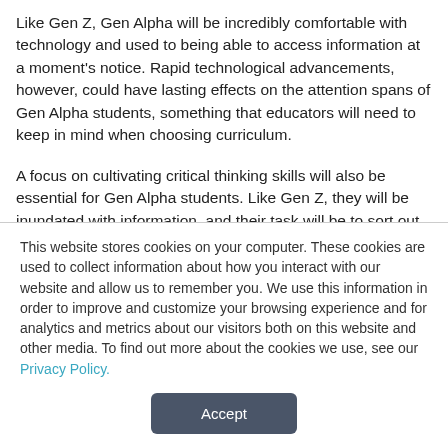Like Gen Z, Gen Alpha will be incredibly comfortable with technology and used to being able to access information at a moment's notice. Rapid technological advancements, however, could have lasting effects on the attention spans of Gen Alpha students, something that educators will need to keep in mind when choosing curriculum.

A focus on cultivating critical thinking skills will also be essential for Gen Alpha students. Like Gen Z, they will be inundated with information, and their task will be to sort out what's valuable from the rest during their academic
This website stores cookies on your computer. These cookies are used to collect information about how you interact with our website and allow us to remember you. We use this information in order to improve and customize your browsing experience and for analytics and metrics about our visitors both on this website and other media. To find out more about the cookies we use, see our Privacy Policy.